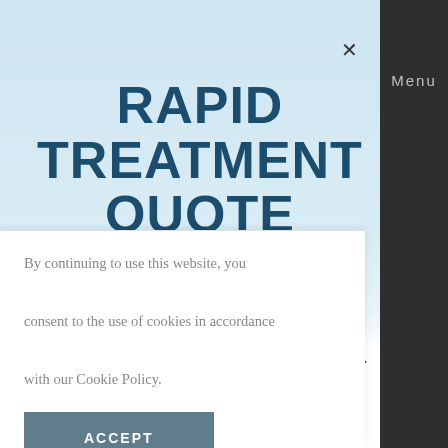Menu
RAPID TREATMENT QUOTE
Use our new web-form to get a rapid quote for aesthetic treatments from one of our expert Doctors.
By continuing to use this website, you consent to the use of cookies in accordance with our Cookie Policy.
ACCEPT